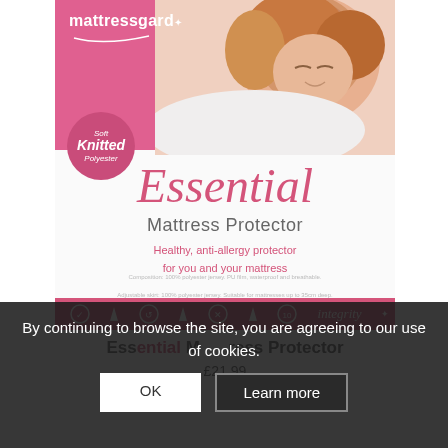[Figure (photo): Mattressgard Essential Mattress Protector product packaging showing woman sleeping, pink top section with logo, badge circle saying Soft Knitted Polyester, script text Essential, subtitle Mattress Protector, tagline Healthy anti-allergy protector, icons strip at bottom]
By continuing to browse the site, you are agreeing to our use of cookies.
OK
Learn more
Essential Mattress Protector
£21.99